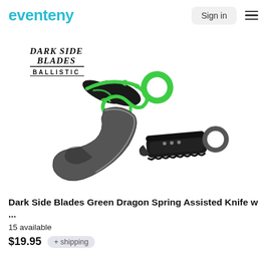eventeny
[Figure (photo): Dark Side Blades Ballistic karambit-style spring assisted knife with green dragon design on black handle, shown in both open and closed positions.]
Dark Side Blades Green Dragon Spring Assisted Knife w ...
15 available
$19.95  + shipping